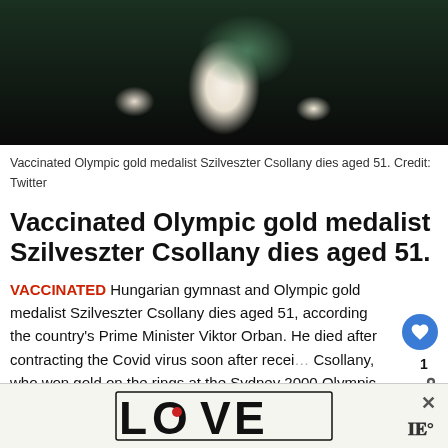[Figure (photo): Gymnast performing on rings, wearing green top and white pants, dark background]
Vaccinated Olympic gold medalist Szilveszter Csollany dies aged 51. Credit: Twitter
Vaccinated Olympic gold medalist Szilveszter Csollany dies aged 51.
VACCINATED Hungarian gymnast and Olympic gold medalist Szilveszter Csollany dies aged 51, according the country's Prime Minister Viktor Orban. He died after contracting the Covid virus soon after recei... Csollany, who won gold on the rings at the Sydney 2000 Olympic Games, passed away on January 24 after...